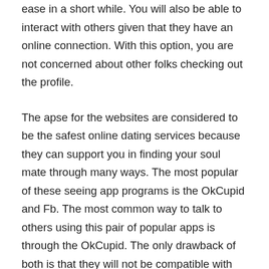ease in a short while. You will also be able to interact with others given that they have an online connection. With this option, you are not concerned about other folks checking out the profile.
The apse for the websites are considered to be the safest online dating services because they can support you in finding your soul mate through many ways. The most popular of these seeing app programs is the OkCupid and Fb. The most common way to talk to others using this pair of popular apps is through the OkCupid. The only drawback of both is that they will not be compatible with every phones and internet connections.
The majority of the dating websites today are providing mobile versions of their websites. This means that you will